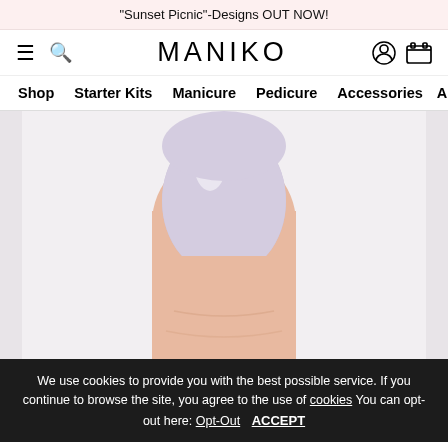"Sunset Picnic"-Designs OUT NOW!
MANIKO
Shop | Starter Kits | Manicure | Pedicure | Accessories | Ap
[Figure (photo): Close-up of a finger with lavender/light purple nail polish on a light background]
We use cookies to provide you with the best possible service. If you continue to browse the site, you agree to the use of cookies You can opt-out here: Opt-Out